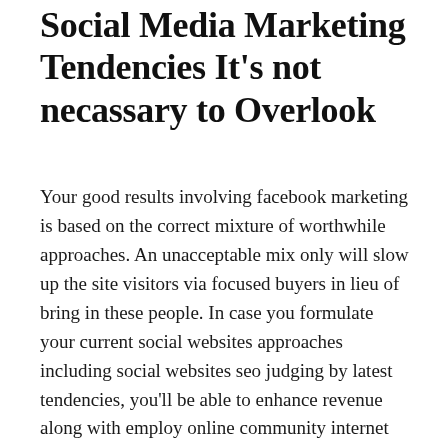Social Media Marketing Tendencies It's not necassary to Overlook
Your good results involving facebook marketing is based on the correct mixture of worthwhile approaches. An unacceptable mix only will slow up the site visitors via focused buyers in lieu of bring in these people. In case you formulate your current social websites approaches including social websites seo judging by latest tendencies, you'll be able to enhance revenue along with employ online community internet sites properly pertaining to promoting. Allow me to share your the latest